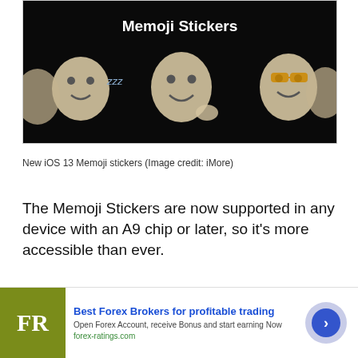[Figure (photo): Screenshot of iOS 13 Memoji Stickers presentation slide on a black background showing multiple animated memoji character faces with the title 'Memoji Stickers' in white text]
New iOS 13 Memoji stickers (Image credit: iMore)
The Memoji Stickers are now supported in any device with an A9 chip or later, so it's more accessible than ever.
How to create, edit, and customize your contact profile for Messages
[Figure (other): Advertisement banner for forex-ratings.com: Best Forex Brokers for profitable trading. Open Forex Account, receive Bonus and start earning Now.]